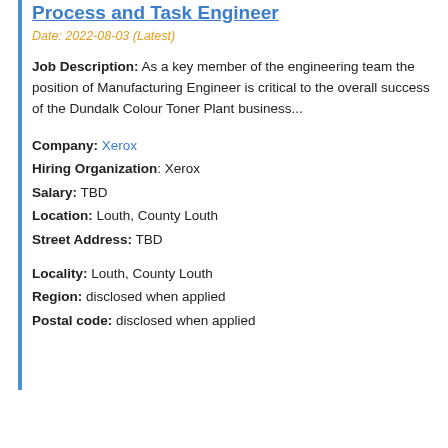Process and Task Engineer
Date: 2022-08-03 (Latest)
Job Description: As a key member of the engineering team the position of Manufacturing Engineer is critical to the overall success of the Dundalk Colour Toner Plant business...
Company: Xerox
Hiring Organization: Xerox
Salary: TBD
Location: Louth, County Louth
Street Address: TBD
Locality: Louth, County Louth
Region: disclosed when applied
Postal code: disclosed when applied